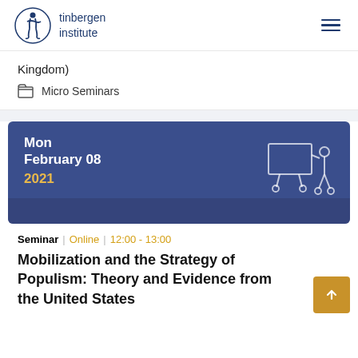tinbergen institute
Kingdom)
Micro Seminars
[Figure (other): Dark blue event card showing Mon February 08 2021 with a seminar/presentation illustration on the right]
Seminar | Online | 12:00 - 13:00
Mobilization and the Strategy of Populism: Theory and Evidence from the United States